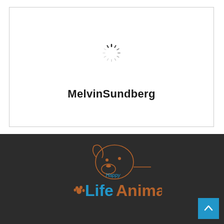[Figure (screenshot): Loading spinner icon (circular dashed spinner in gray) centered in a white card]
MelvinSundberg
[Figure (logo): Happy Life Animal logo with dog outline in brown/copper color on dark background, text 'Life' in blue, 'Animal' in brown/copper, 'Happy' in smaller blue text above]